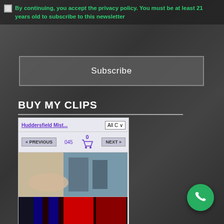By continuing, you accept the privacy policy. You must be at least 21 years old to subscribe to this newsletter
Subscribe
BUY MY CLIPS
[Figure (screenshot): Embedded clip store widget showing store name 'Huddersfield Mist...', an 'All C' dropdown, navigation buttons PREVIOUS and NEXT, a cart icon with 0 items, page count '045', and two thumbnail images of video clips]
[Figure (photo): Background photo of a blonde woman in black lace clothing holding a large black implement, partially visible]
[Figure (photo): Green circular phone/call button in the bottom right corner]